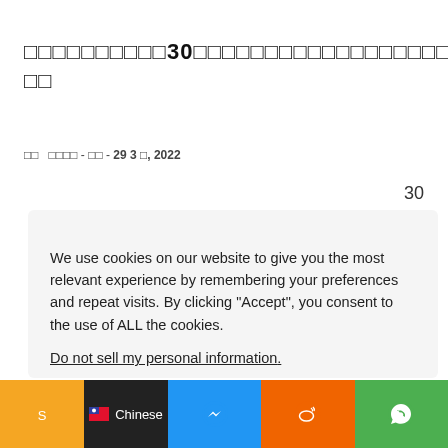□□□□□□□□□□30□□□□□□□□□□□□□□□□□□
□□  □□□□ - □□ - 29 3 □, 2022
30
[Figure (screenshot): Cookie consent modal with text: We use cookies on our website to give you the most relevant experience by remembering your preferences and repeat visits. By clicking "Accept", you consent to the use of ALL the cookies. Do not sell my personal information. Buttons: Cookie settings, ACCEPT]
[Figure (infographic): Bottom navigation bar with yellow, dark (Chinese flag + Chinese label), blue (messenger icon), orange (Weibo icon), green (WhatsApp icon) sections]